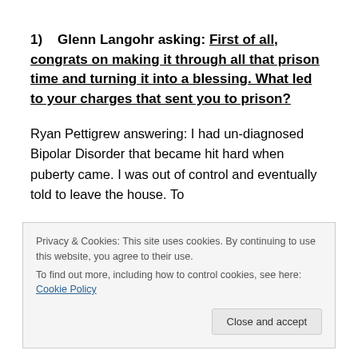1)    Glenn Langohr asking: First of all, congrats on making it through all that prison time and turning it into a blessing. What led to your charges that sent you to prison?
Ryan Pettigrew answering: I had un-diagnosed Bipolar Disorder that became hit hard when puberty came. I was out of control and eventually told to leave the house. To
Privacy & Cookies: This site uses cookies. By continuing to use this website, you agree to their use. To find out more, including how to control cookies, see here: Cookie Policy
After serving two years, I was released but went back to